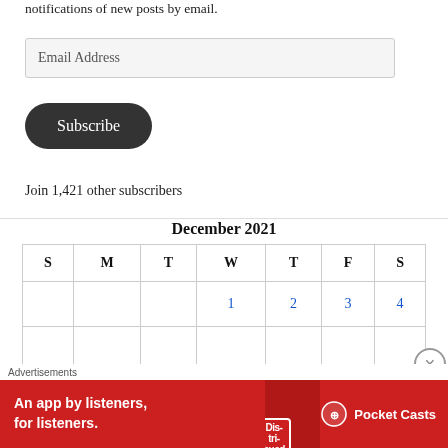notifications of new posts by email.
Email Address
Subscribe
Join 1,421 other subscribers
| S | M | T | W | T | F | S |
| --- | --- | --- | --- | --- | --- | --- |
|  |  |  | 1 | 2 | 3 | 4 |
|  |  |  |  |  |  |  |
December 2021
[Figure (infographic): Pocket Casts advertisement banner: red background with text 'An app by listeners, for listeners.' and Pocket Casts logo]
Advertisements